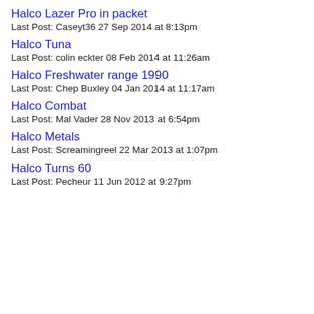Halco Lazer Pro in packet
Last Post: Caseyt36 27 Sep 2014 at 8:13pm
Halco Tuna
Last Post: colin eckter 08 Feb 2014 at 11:26am
Halco Freshwater range 1990
Last Post: Chep Buxley 04 Jan 2014 at 11:17am
Halco Combat
Last Post: Mal Vader 28 Nov 2013 at 6:54pm
Halco Metals
Last Post: Screamingreel 22 Mar 2013 at 1:07pm
Halco Turns 60
Last Post: Pecheur 11 Jun 2012 at 9:27pm